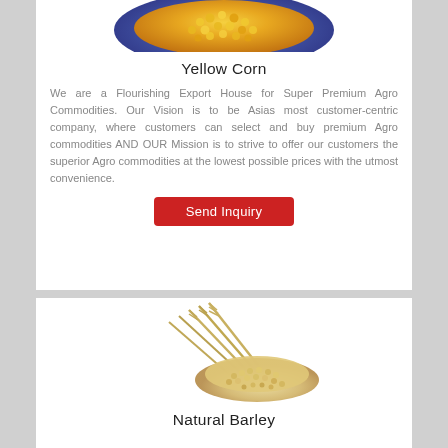[Figure (photo): Photo of yellow corn kernels in a blue bowl, seen from above, cropped at top]
Yellow Corn
We are a Flourishing Export House for Super Premium Agro Commodities. Our Vision is to be Asias most customer-centric company, where customers can select and buy premium Agro commodities AND OUR Mission is to strive to offer our customers the superior Agro commodities at the lowest possible prices with the utmost convenience.
Send Inquiry
[Figure (photo): Photo of natural barley grains piled with barley stalks/ears on a white background]
Natural Barley